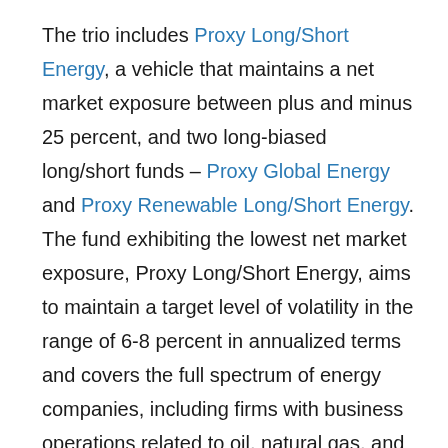The trio includes Proxy Long/Short Energy, a vehicle that maintains a net market exposure between plus and minus 25 percent, and two long-biased long/short funds – Proxy Global Energy and Proxy Renewable Long/Short Energy. The fund exhibiting the lowest net market exposure, Proxy Long/Short Energy, aims to maintain a target level of volatility in the range of 6-8 percent in annualized terms and covers the full spectrum of energy companies, including firms with business operations related to oil, natural gas, and renewable energy. Proxy Global Energy and Proxy Renewable Long/Short Energy serve as long-biased versions of the preceding vehicle, where the latter fund focuses on companies operating in the renewable energy and energy tech sectors, and the former invests